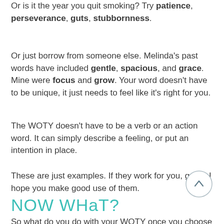Or is it the year you quit smoking? Try patience, perseverance, guts, stubbornness.
Or just borrow from someone else. Melinda's past words have included gentle, spacious, and grace. Mine were focus and grow. Your word doesn't have to be unique, it just needs to feel like it's right for you.
The WOTY doesn't have to be a verb or an action word. It can simply describe a feeling, or put an intention in place.
These are just examples. If they work for you, great! I hope you make good use of them.
[Figure (illustration): A circular button with an upward-pointing arrow, outlined in teal/gray]
NOW WHAT?
So what do you do with your WOTY once you choose